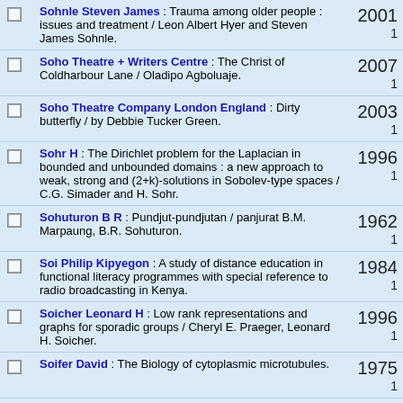Sohnle Steven James : Trauma among older people : issues and treatment / Leon Albert Hyer and Steven James Sohnle.
Soho Theatre + Writers Centre : The Christ of Coldharbour Lane / Oladipo Agboluaje.
Soho Theatre Company London England : Dirty butterfly / by Debbie Tucker Green.
Sohr H : The Dirichlet problem for the Laplacian in bounded and unbounded domains : a new approach to weak, strong and (2+k)-solutions in Sobolev-type spaces / C.G. Simader and H. Sohr.
Sohuturon B R : Pundjut-pundjutan / panjurat B.M. Marpaung, B.R. Sohuturon.
Soi Philip Kipyegon : A study of distance education in functional literacy programmes with special reference to radio broadcasting in Kenya.
Soicher Leonard H : Low rank representations and graphs for sporadic groups / Cheryl E. Praeger, Leonard H. Soicher.
Soifer David : The Biology of cytoplasmic microtubules.
Soifer Eldon 1960 : Hypocrisy : ethical investigations / Béla Szabados and Eldon Soifer.